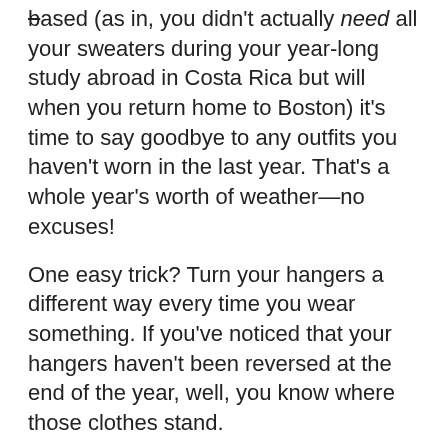based (as in, you didn't actually need all your sweaters during your year-long study abroad in Costa Rica but will when you return home to Boston) it's time to say goodbye to any outfits you haven't worn in the last year. That's a whole year's worth of weather—no excuses!
One easy trick? Turn your hangers a different way every time you wear something. If you've noticed that your hangers haven't been reversed at the end of the year, well, you know where those clothes stand.
[Figure (other): Advertisement banner reading FOLLOW US ON INSTAGRAM @SWEETYHIGH with a small avatar image at the bottom]